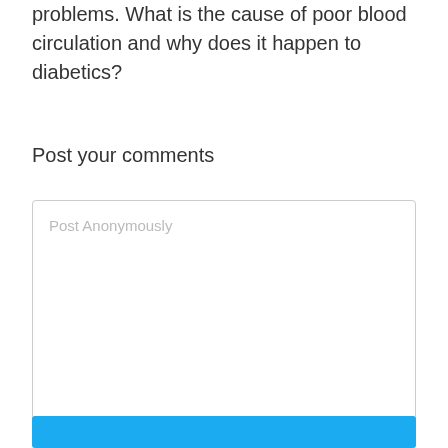problems. What is the cause of poor blood circulation and why does it happen to diabetics?
Post your comments
Post Anonymously